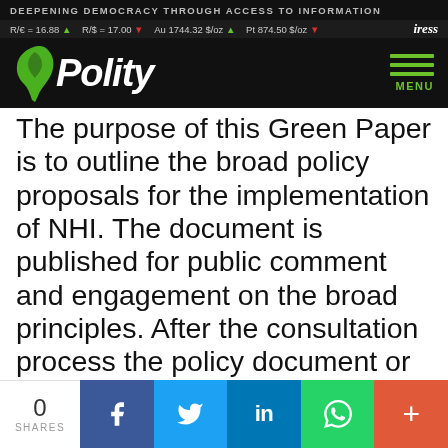DEEPENING DEMOCRACY THROUGH ACCESS TO INFORMATION
R/€ = 16.88 ▲  R/$ = 17.00 ▼  Au 1744.32 $/oz ▲  Pt 874.50 $/oz ▼  iress
[Figure (logo): Polity logo with green Africa leaf icon and italic white bold text 'Polity' on dark background, with green hamburger menu icon and MENU label]
The purpose of this Green Paper is to outline the broad policy proposals for the implementation of NHI. The document is published for public comment and engagement on the broad principles. After the consultation process the policy document or White Paper will be finalised. Thereafter draft legislation will be developed and published for public engagement. After public engagement the legislation will
0 SHARES  [Facebook] [Twitter] [LinkedIn] [WhatsApp] [+]